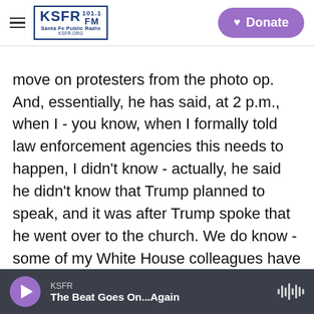KSFR 101.1 FM Santa Fe Public Radio | Donate
move on protesters from the photo op. And, essentially, he has said, at 2 p.m., when I - you know, when I formally told law enforcement agencies this needs to happen, I didn't know - actually, he said he didn't know that Trump planned to speak, and it was after Trump spoke that he went over to the church. We do know - some of my White House colleagues have reporting from inside the White House that this was kind of an evolving plan that was only finalized very late in the day. So it is certainly plausible that, at 2 p.m., he did not know officially that the president was going to go
KSFR | The Beat Goes On...Again